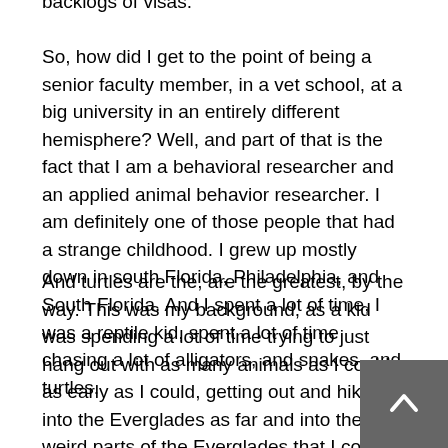backlogs of visas.
So, how did I get to the point of being a senior faculty member, in a vet school, at a big university in an entirely different hemisphere? Well, and part of that is the fact that I am a behavioral researcher and an applied animal behavior researcher. I am definitely one of those people that had a strange childhood. I grew up mostly down in south Florida, Philadelphia, and South Florida. And I spent a lot of time, I was a reptile kid, spent a lot of time chasing a lot of alligators, and snakes, and turtles.
And turtles are the, are the greatest, by the way. This was my background, as a kid was spending a lot of time trying to just hang out with as many animals as I could, as early as I could, getting out and hiking into the Everglades as far and into the weird parts of the Everglades that I could manage